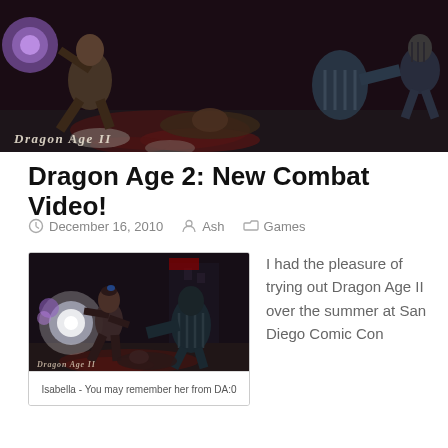[Figure (screenshot): Dragon Age II game screenshot showing combat scene - header banner image]
Dragon Age 2: New Combat Video!
December 16, 2010  Ash  Games
[Figure (screenshot): Dragon Age II game screenshot showing Isabella character in combat with glowing magic effects]
Isabella - You may remember her from DA:0
I had the pleasure of trying out Dragon Age II over the summer at San Diego Comic Con